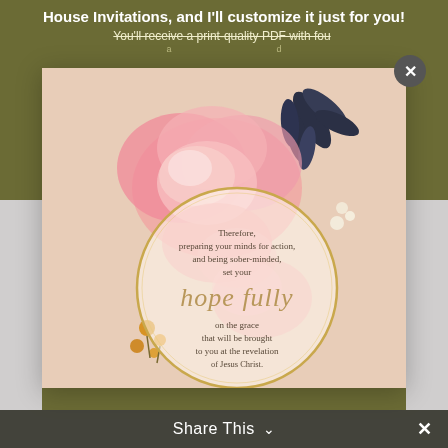House Invitations, and I'll customize it just for you!
You'll receive a print-quality PDF with four...
[Figure (illustration): Watercolor floral invitation card with pink roses, dark navy botanical leaves, small orange flowers, on a beige/blush background. A circular gold-ring frame overlay contains scripture text: 'Therefore, preparing your minds for action, and being sober-minded, set your hope fully on the grace that will be brought to you at the revelation of Jesus Christ.']
Share This